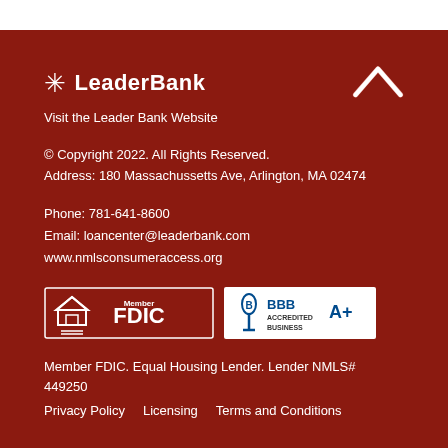[Figure (logo): LeaderBank logo with asterisk/star icon and text 'LeaderBank', plus a chevron/up-arrow icon on the right]
Visit the Leader Bank Website
© Copyright 2022. All Rights Reserved.
Address: 180 Massachussetts Ave, Arlington, MA 02474
Phone: 781-641-8600
Email: loancenter@leaderbank.com
www.nmlsconsumeraccess.org
[Figure (logo): Equal Housing Lender and Member FDIC badge, and BBB Accredited Business badge]
Member FDIC. Equal Housing Lender. Lender NMLS# 449250
Privacy Policy   Licensing   Terms and Conditions